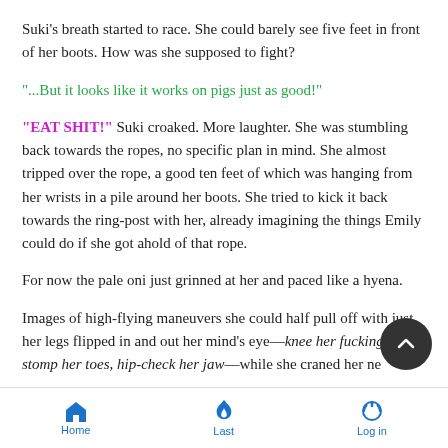Suki's breath started to race. She could barely see five feet in front of her boots. How was she supposed to fight?
"...But it looks like it works on pigs just as good!"
"EAT SHIT!" Suki croaked. More laughter. She was stumbling back towards the ropes, no specific plan in mind. She almost tripped over the rope, a good ten feet of which was hanging from her wrists in a pile around her boots. She tried to kick it back towards the ring-post with her, already imagining the things Emily could do if she got ahold of that rope.
For now the pale oni just grinned at her and paced like a hyena.
Images of high-flying maneuvers she could half pull off with just her legs flipped in and out her mind's eye—knee her fucking in, stomp her toes, hip-check her jaw—while she craned her neck back and struggled to keep the sweat and hair out of her eyes.
Home  Last  Log in